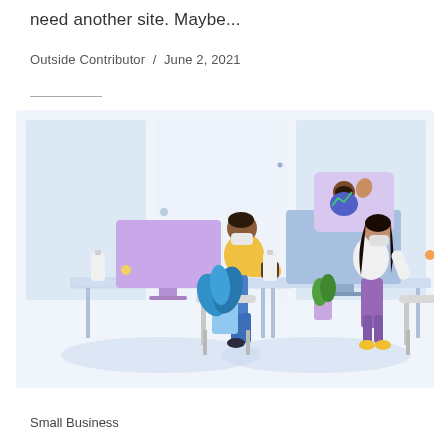need another site. Maybe...
Outside Contributor / June 2, 2021
[Figure (illustration): Flat vector illustration showing two people working at desks in an office wearing masks. A man in a yellow sweater and blue pants sits at a purple monitor on the left. A woman with dark hair in a white top and purple pants sits at a blue monitor on the right. A video call with a person in a purple frame appears above the right monitor. A blue potted plant sits in the center. Both desks have sanitizer bottles. The background has large light blue windows.]
Small Business